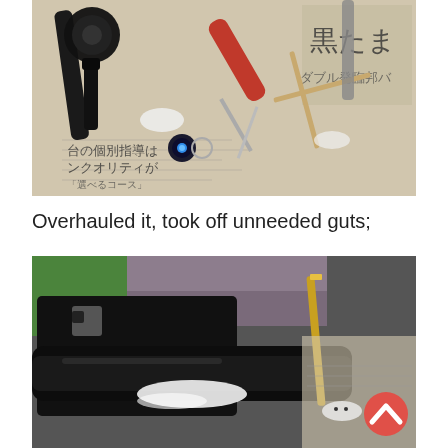[Figure (photo): Overhead photo of bicycle/fishing reel parts and tools laid out on Japanese newspaper. Items include black metal components, a red-handled screwdriver, metal pins, a small blue LED keychain light, and thin wooden sticks arranged crosswise.]
Overhauled it, took off unneeded guts;
[Figure (photo): Close-up photo of a black mechanical part (possibly a bicycle hub or reel) being worked on, with white powder/lubricant visible. A metal tool is held against it. Background shows green surface and Japanese newspaper. A red circular scroll-to-top button overlays the bottom right corner.]